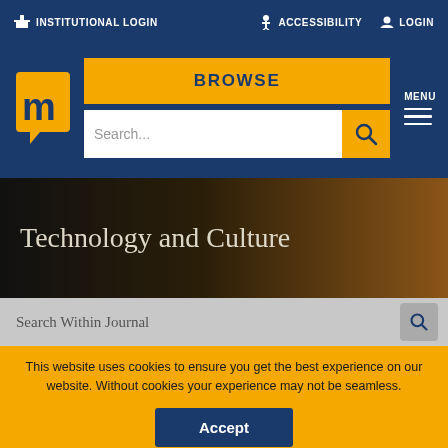INSTITUTIONAL LOGIN  ACCESSIBILITY  LOGIN
[Figure (logo): Muse Project logo - yellow speech bubble with lowercase m on dark blue background]
BROWSE
Search...
MENU
Technology and Culture
Search Within Journal
This website uses cookies to ensure you get the best experience on our website. Without cookies your experience may not be seamless.
Accept